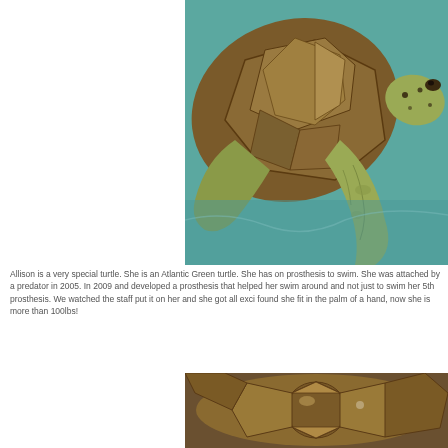[Figure (photo): Close-up photo of an Atlantic Green sea turtle swimming in turquoise/teal water, viewed from the side showing its shell, neck, and head with spotted markings.]
Allison is a very special turtle. She is an Atlantic Green turtle. She has on prosthesis to swim. She was attached by a predator in 2005. In 2009 and developed a prosthesis that helped her swim around and not just to swim her 5th prosthesis. We watched the staff put it on her and she got all exci found she fit in the palm of a hand, now she is more than 100lbs!
[Figure (photo): Top-down view of an Atlantic Green sea turtle shell showing the scute pattern in brown and olive tones.]